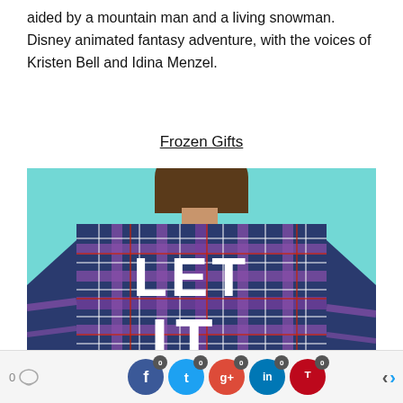aided by a mountain man and a living snowman. Disney animated fantasy adventure, with the voices of Kristen Bell and Idina Menzel.
Frozen Gifts
[Figure (photo): Person seen from behind wearing a dark blue and purple plaid flannel shirt with 'LET IT' text printed in large white letters on the back, against a light teal background. The bottom of the shirt is cut off.]
0 comments | Facebook 0 | Twitter 0 | Google+ 0 | LinkedIn 0 | Pinterest 0 | < >